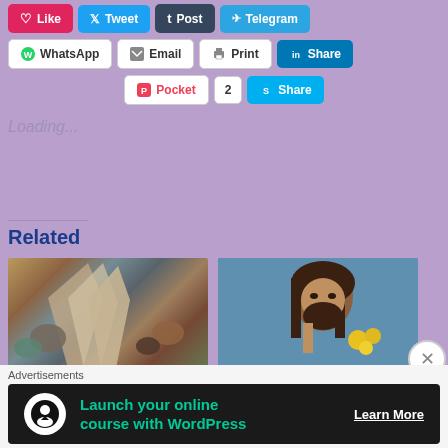[Figure (screenshot): Social media share buttons: Like, Tweet, Tumblr, Telegram, WhatsApp, Email, Print, LinkedIn Share, Pocket (2), Skype Share]
Loading...
Related
[Figure (photo): Photo of crystals and gemstones]
Are Crystals and Gems used in the Bible?
July 28, 2017
[Figure (photo): Photo of a man with long hair and beard holding yellow flowers]
How to Recognize the 'Supernatural' Spiritual Fraud!
September 15, 2016
Advertisements
[Figure (infographic): Advertisement banner: Launch your online course with WordPress - Learn More]